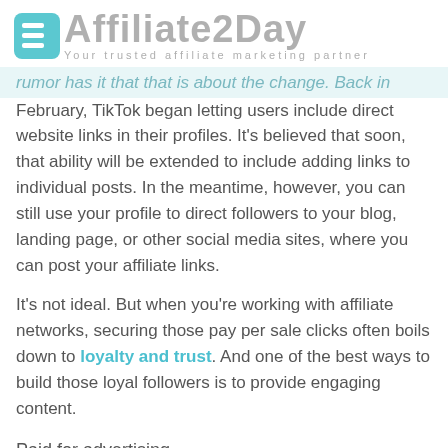Affiliate2Day — Your trusted affiliate marketing partner
rumor has it that that is about the change. Back in February, TikTok began letting users include direct website links in their profiles. It's believed that soon, that ability will be extended to include adding links to individual posts. In the meantime, however, you can still use your profile to direct followers to your blog, landing page, or other social media sites, where you can post your affiliate links.
It's not ideal. But when you're working with affiliate networks, securing those pay per sale clicks often boils down to loyalty and trust. And one of the best ways to build those loyal followers is to provide engaging content.
Paid for advertising